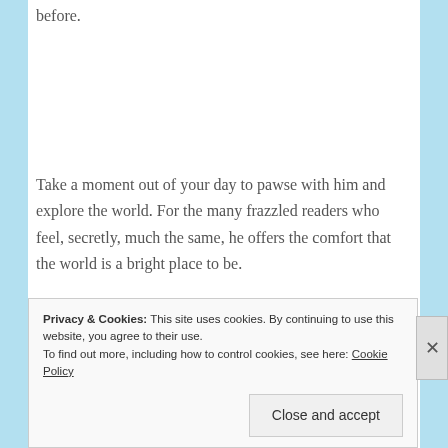before.
Take a moment out of your day to pawse with him and explore the world. For the many frazzled readers who feel, secretly, much the same, he offers the comfort that the world is a bright place to be.
Privacy & Cookies: This site uses cookies. By continuing to use this website, you agree to their use. To find out more, including how to control cookies, see here: Cookie Policy
Close and accept